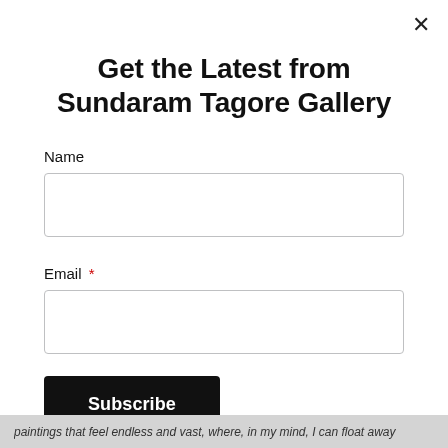Get the Latest from Sundaram Tagore Gallery
Name
Email *
Subscribe
paintings that feel endless and vast, where, in my mind, I can float away